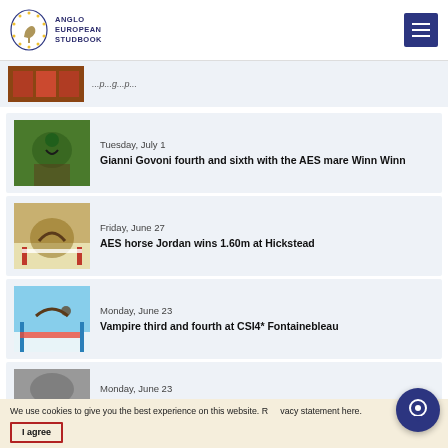Anglo European Studbook
Tuesday, July 1 — Gianni Govoni fourth and sixth with the AES mare Winn Winn
Friday, June 27 — AES horse Jordan wins 1.60m at Hickstead
Monday, June 23 — Vampire third and fourth at CSI4* Fontainebleau
Monday, June 23
We use cookies to give you the best experience on this website. R...vacy statement here. I agree